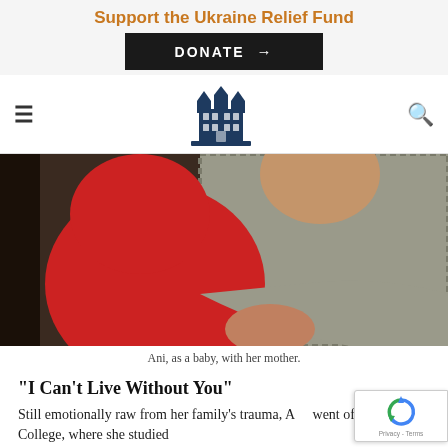Support the Ukraine Relief Fund
DONATE →
[Figure (logo): Building/institution logo icon in dark navy blue]
[Figure (photo): Ani as a baby, with her mother. A child in a red top being held by an adult in a striped shirt.]
Ani, as a baby, with her mother.
“I Can’t Live Without You”
Still emotionally raw from her family’s trauma, A… went off to Ithaca College, where she studied